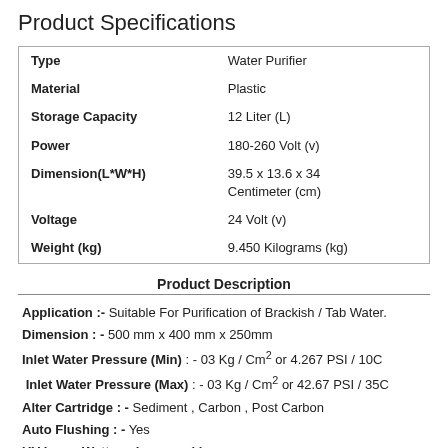Product Specifications
| Attribute | Value |
| --- | --- |
| Type | Water Purifier |
| Material | Plastic |
| Storage Capacity | 12 Liter (L) |
| Power | 180-260 Volt (v) |
| Dimension(L*W*H) | 39.5 x 13.6 x 34 Centimeter (cm) |
| Voltage | 24 Volt (v) |
| Weight (kg) | 9.450 Kilograms (kg) |
Product Description
Application :- Suitable For Purification of Brackish / Tab Water.
Dimension : - 500 mm x 400 mm x 250mm
Inlet Water Pressure (Min) : - 03 Kg / Cm2 or 4.267 PSI / 10C
Inlet Water Pressure (Max) : - 03 Kg / Cm2 or 42.67 PSI / 35C
Alter Cartridge : - Sediment , Carbon , Post Carbon
Auto Flushing : - Yes
UV Lamp Wattage Lamp : - 11w
Weight : - 9.450 Kg